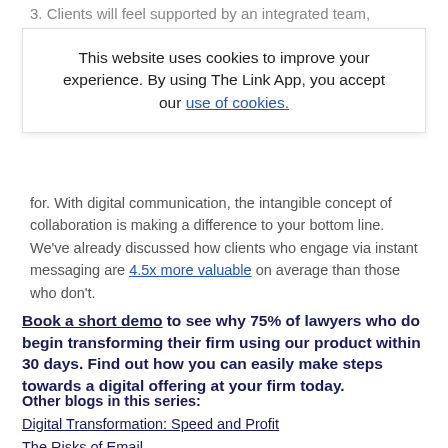3. Clients will feel supported by an integrated team,
This website uses cookies to improve your experience. By using The Link App, you accept our use of cookies.
for. With digital communication, the intangible concept of collaboration is making a difference to your bottom line. We've already discussed how clients who engage via instant messaging are 4.5x more valuable on average than those who don't.
Book a short demo to see why 75% of lawyers who do begin transforming their firm using our product within 30 days. Find out how you can easily make steps towards a digital offering at your firm today.
Other blogs in this series:
Digital Transformation: Speed and Profit
The Risks of Email